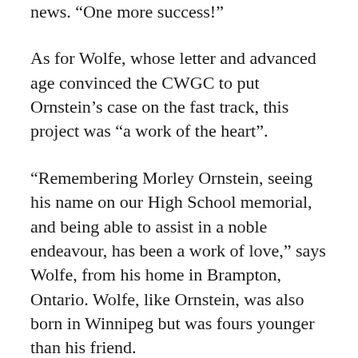news. “One more success!”
As for Wolfe, whose letter and advanced age convinced the CWGC to put Ornstein’s case on the fast track, this project was “a work of the heart”.
“Remembering Morley Ornstein, seeing his name on our High School memorial, and being able to assist in a noble endeavour, has been a work of love,” says Wolfe, from his home in Brampton, Ontario. Wolfe, like Ornstein, was also born in Winnipeg but was fours younger than his friend.
The Commonwealth War Graves